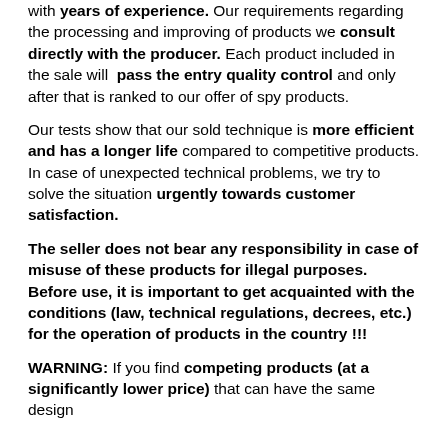with years of experience. Our requirements regarding the processing and improving of products we consult directly with the producer. Each product included in the sale will pass the entry quality control and only after that is ranked to our offer of spy products.
Our tests show that our sold technique is more efficient and has a longer life compared to competitive products. In case of unexpected technical problems, we try to solve the situation urgently towards customer satisfaction.
The seller does not bear any responsibility in case of misuse of these products for illegal purposes. Before use, it is important to get acquainted with the conditions (law, technical regulations, decrees, etc.) for the operation of products in the country !!!
WARNING: If you find competing products (at a significantly lower price) that can have the same design